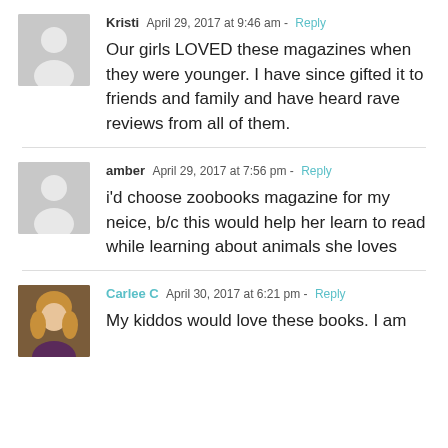Kristi  April 29, 2017 at 9:46 am - Reply
Our girls LOVED these magazines when they were younger. I have since gifted it to friends and family and have heard rave reviews from all of them.
amber  April 29, 2017 at 7:56 pm - Reply
i'd choose zoobooks magazine for my neice, b/c this would help her learn to read while learning about animals she loves
Carlee C  April 30, 2017 at 6:21 pm - Reply
My kiddos would love these books. I am